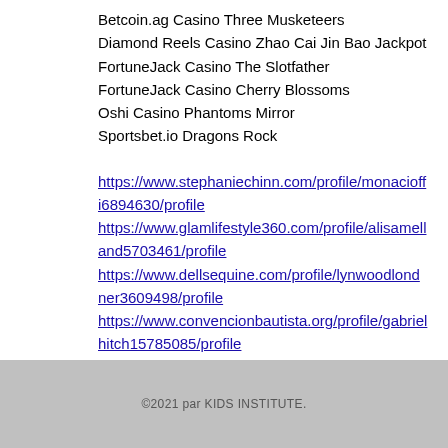Betcoin.ag Casino Three Musketeers
Diamond Reels Casino Zhao Cai Jin Bao Jackpot
FortuneJack Casino The Slotfather
FortuneJack Casino Cherry Blossoms
Oshi Casino Phantoms Mirror
Sportsbet.io Dragons Rock
https://www.stephaniechinn.com/profile/monacioffi6894630/profile
https://www.glamlifestyle360.com/profile/alisamelland5703461/profile
https://www.dellsequine.com/profile/lynwoodlondner3609498/profile
https://www.convencionbautista.org/profile/gabrielhitch15785085/profile
©2021 par KIDS INSTITUTE.